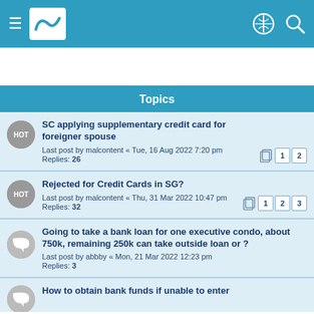Topics forum header with navigation
Topics
SC applying supplementary credit card for foreigner spouse
Last post by malcontent « Tue, 16 Aug 2022 7:20 pm
Replies: 26
Rejected for Credit Cards in SG?
Last post by malcontent « Thu, 31 Mar 2022 10:47 pm
Replies: 32
Going to take a bank loan for one executive condo, about 750k, remaining 250k can take outside loan or ?
Last post by abbby « Mon, 21 Mar 2022 12:23 pm
Replies: 3
How to obtain bank funds if unable to enter...